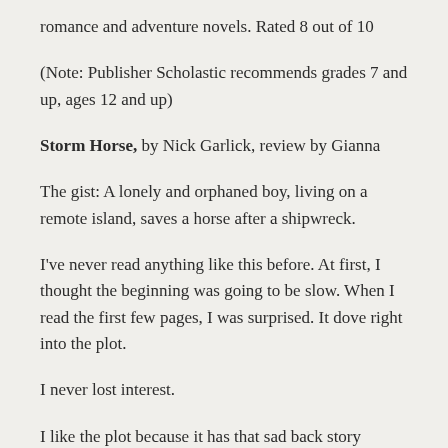romance and adventure novels. Rated 8 out of 10
(Note: Publisher Scholastic recommends grades 7 and up, ages 12 and up)
Storm Horse, by Nick Garlick, review by Gianna
The gist: A lonely and orphaned boy, living on a remote island, saves a horse after a shipwreck.
I've never read anything like this before. At first, I thought the beginning was going to be slow. When I read the first few pages, I was surprised. It dove right into the plot.
I never lost interest.
I like the plot because it has that sad back story